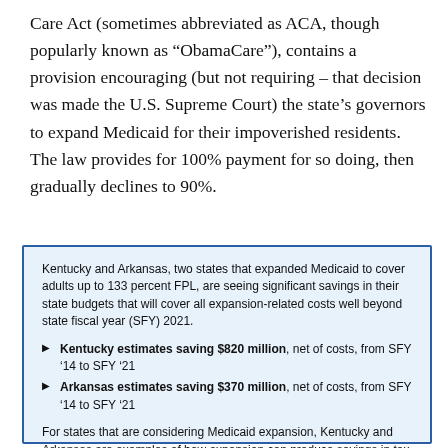Care Act (sometimes abbreviated as ACA, though popularly known as “ObamaCare”), contains a provision encouraging (but not requiring – that decision was made the U.S. Supreme Court) the state’s governors to expand Medicaid for their impoverished residents. The law provides for 100% payment for so doing, then gradually declines to 90%.
Kentucky and Arkansas, two states that expanded Medicaid to cover adults up to 133 percent FPL, are seeing significant savings in their state budgets that will cover all expansion-related costs well beyond state fiscal year (SFY) 2021.
Kentucky estimates saving $820 million, net of costs, from SFY ’14 to SFY ’21
Arkansas estimates saving $370 million, net of costs, from SFY ’14 to SFY ’21
For states that are considering Medicaid expansion, Kentucky and Arkansas are examples of how expansion can produce savings in tax dollars and generate new revenue for state budgets.